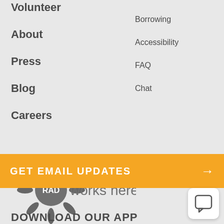Volunteer
About
Press
Blog
Careers
Borrowing
Accessibility
FAQ
Chat
[Figure (logo): RAD works here. logo — sun-like radiant icon with circle containing RAD text]
GET EMAIL UPDATES →
[Figure (illustration): Chat/message bubble icon button]
DOWNLOAD OUR APP